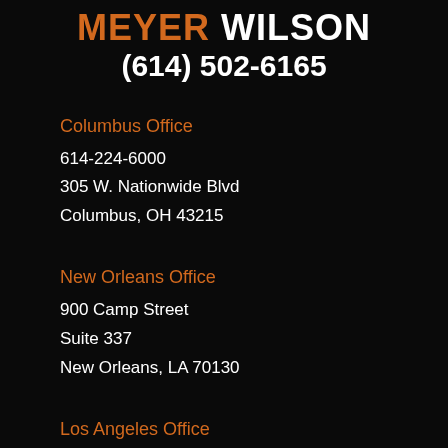MEYER WILSON (614) 502-6165
Columbus Office
614-224-6000
305 W. Nationwide Blvd
Columbus, OH 43215
New Orleans Office
900 Camp Street
Suite 337
New Orleans, LA 70130
Los Angeles Office